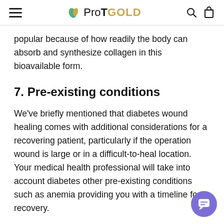ProTGOLD
popular because of how readily the body can absorb and synthesize collagen in this bioavailable form.
7. Pre-existing conditions
We've briefly mentioned that diabetes wound healing comes with additional considerations for a recovering patient, particularly if the operation wound is large or in a difficult-to-heal location. Your medical health professional will take into account diabetes other pre-existing conditions such as anemia providing you with a timeline for recovery.